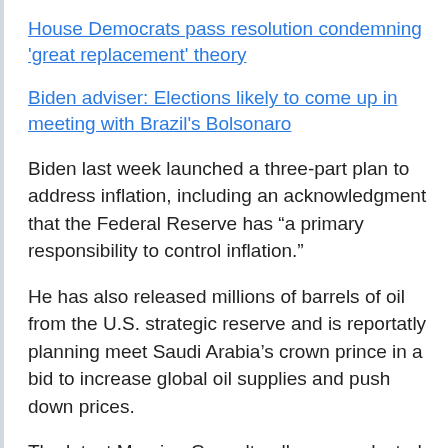House Democrats pass resolution condemning 'great replacement' theory
Biden adviser: Elections likely to come up in meeting with Brazil's Bolsonaro
Biden last week launched a three-part plan to address inflation, including an acknowledgment that the Federal Reserve has “a primary responsibility to control inflation.”
He has also released millions of barrels of oil from the U.S. strategic reserve and is reportatly planning meet Saudi Arabia’s crown prince in a bid to increase global oil supplies and push down prices.
The latest Morning Consult poll was conducted